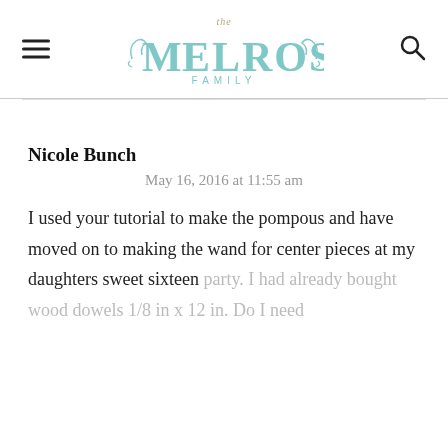the Melrose Family
Nicole Bunch
May 16, 2016 at 11:55 am
I used your tutorial to make the pompous and have moved on to making the wand for center pieces at my daughters sweet sixteen party. I had already bought wood dowels 1/8 in x 12 in. Do I need